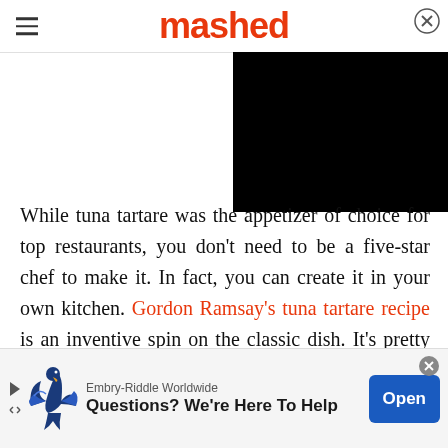mashed
[Figure (other): Black video player block in upper right corner of the page]
While tuna tartare was the appetizer of choice for top restaurants, you don't need to be a five-star chef to make it. In fact, you can create it in your own kitchen. Gordon Ramsay's tuna tartare recipe is an inventive spin on the classic dish. It's pretty easy to put together with the right ingredients. Serve it at your next dinner party, delight your
[Figure (other): Advertisement banner for Embry-Riddle Worldwide with eagle logo, text 'Questions? We're Here To Help' and blue Open button]